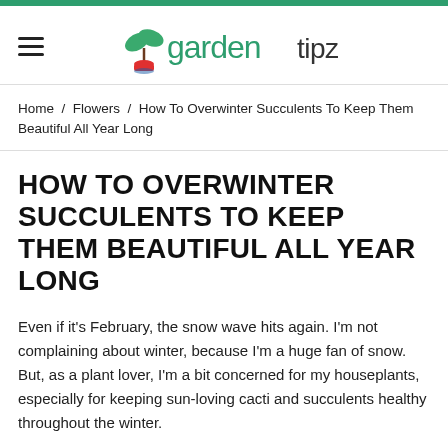gardentipz
Home / Flowers / How To Overwinter Succulents To Keep Them Beautiful All Year Long
HOW TO OVERWINTER SUCCULENTS TO KEEP THEM BEAUTIFUL ALL YEAR LONG
Even if it's February, the snow wave hits again. I'm not complaining about winter, because I'm a huge fan of snow. But, as a plant lover, I'm a bit concerned for my houseplants, especially for keeping sun-loving cacti and succulents healthy throughout the winter.
Succulents are considered low-maintenance plants even when grown indoors. The leaves and stems hold water as an adaptation to growing in arid areas. So, if you love growing succulents indoors here's the best thing you can do to get these warm-growing, sun-